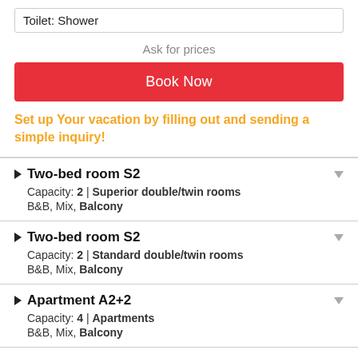Toilet: Shower
Ask for prices
Book Now
Set up Your vacation by filling out and sending a simple inquiry!
Two-bed room S2 | Capacity: 2 | Superior double/twin rooms | B&B, Mix, Balcony
Two-bed room S2 | Capacity: 2 | Standard double/twin rooms | B&B, Mix, Balcony
Apartment A2+2 | Capacity: 4 | Apartments | B&B, Mix, Balcony
One-bed room S1 | Capacity: 1 | Single standard | B&B, Mix, Balcony